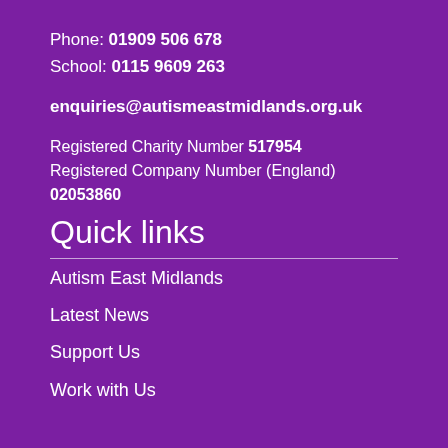Phone: 01909 506 678
School: 0115 9609 263
enquiries@autismeastmidlands.org.uk
Registered Charity Number 517954
Registered Company Number (England) 02053860
Quick links
Autism East Midlands
Latest News
Support Us
Work with Us